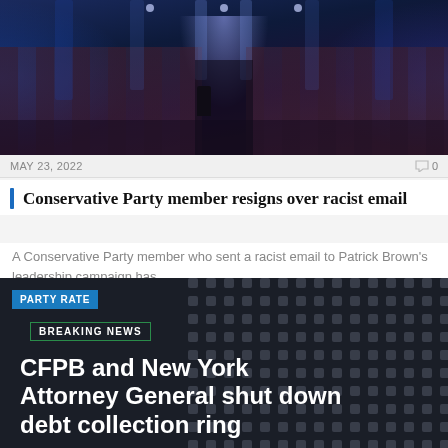[Figure (photo): Dark conference hall with blue stage lighting, rows of chairs, and a silhouetted figure in the aisle]
MAY 23, 2022
0
Conservative Party member resigns over racist email
A Conservative Party member who sent a racist email to Patrick Brown's leadership campaign has...
[Figure (screenshot): Dark news card with 'PARTY RATE' blue badge, 'BREAKING NEWS' green-bordered label, and white headline text on dark background with dot grid pattern]
PARTY RATE
BREAKING NEWS
CFPB and New York Attorney General shut down debt collection ring